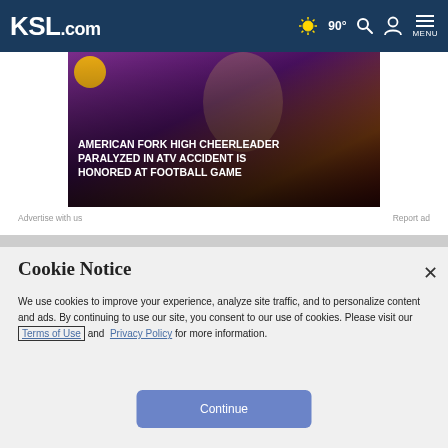KSL.com — 90° weather, search, account, menu navigation bar
[Figure (photo): Hero image of American Fork High cheerleader with overlay text. Blurred person in background, purple/orange gradient tones. Title text overlay: AMERICAN FORK HIGH CHEERLEADER PARALYZED IN ATV ACCIDENT IS HONORED AT FOOTBALL GAME]
Advertise with us
Report ad
Cookie Notice
We use cookies to improve your experience, analyze site traffic, and to personalize content and ads. By continuing to use our site, you consent to our use of cookies. Please visit our Terms of Use and Privacy Policy for more information.
Continue